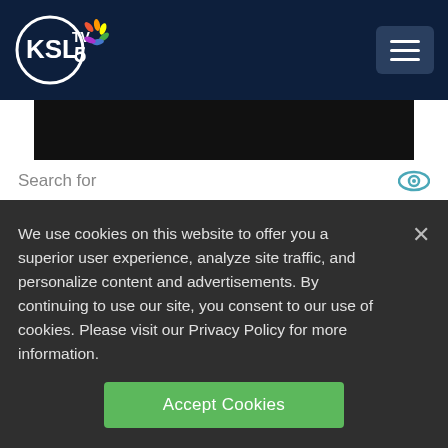[Figure (logo): KSL TV 5 NBC logo in circle on dark navy header, with hamburger menu button on right]
[Figure (other): Black banner/advertisement area below navigation]
Search for
1. DENTAL INSURANCE PLANS FOR SENIORS
2. HIGH PAYING DIVIDEND STOCKS
We use cookies on this website to offer you a superior user experience, analyze site traffic, and personalize content and advertisements. By continuing to use our site, you consent to our use of cookies. Please visit our Privacy Policy for more information.
Accept Cookies